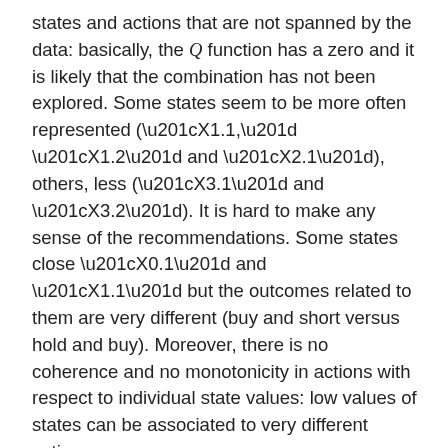states and actions that are not spanned by the data: basically, the Q function has a zero and it is likely that the combination has not been explored. Some states seem to be more often represented (“X1.1,” “X1.2” and “X2.1”), others, less (“X3.1” and “X3.2”). It is hard to make any sense of the recommendations. Some states close “X0.1” and “X1.1” but the outcomes related to them are very different (buy and short versus hold and buy). Moreover, there is no coherence and no monotonicity in actions with respect to individual state values: low values of states can be associated to very different actions.
One reason why these conclusions do not appear trustworthy pertains to the data size. With only 200+ time points and 99 state-action pairs (11 times 9), this yields on average only two data points to compute the Q function. This could be improved by testing more random actions, but the limits of the sample size would eventually (rapidly)